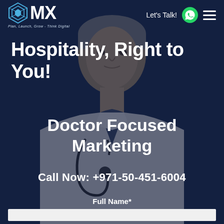[Figure (photo): A male doctor/physician with grey hair wearing a white coat and stethoscope, facing forward against a dark navy blue background overlay. The image serves as the full-page background for a medical marketing page.]
dMX — Plan, Launch, Grow - Think Digital | Let's Talk!
Hospitality, Right to You!
Doctor Focused Marketing
Call Now: +971-50-451-6004
Full Name*